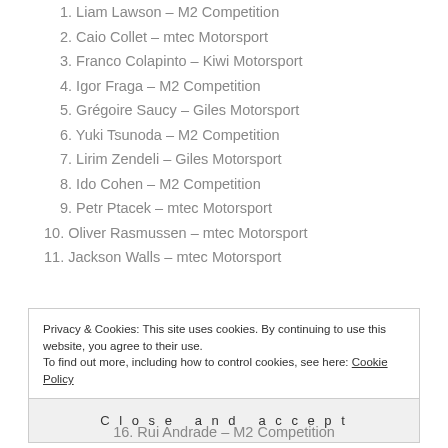1. Liam Lawson – M2 Competition
2. Caio Collet – mtec Motorsport
3. Franco Colapinto – Kiwi Motorsport
4. Igor Fraga – M2 Competition
5. Grégoire Saucy – Giles Motorsport
6. Yuki Tsunoda – M2 Competition
7. Lirim Zendeli – Giles Motorsport
8. Ido Cohen – M2 Competition
9. Petr Ptacek – mtec Motorsport
10. Oliver Rasmussen – mtec Motorsport
11. Jackson Walls – mtec Motorsport
Privacy & Cookies: This site uses cookies. By continuing to use this website, you agree to their use. To find out more, including how to control cookies, see here: Cookie Policy
Close and accept
16. Rui Andrade – M2 Competition